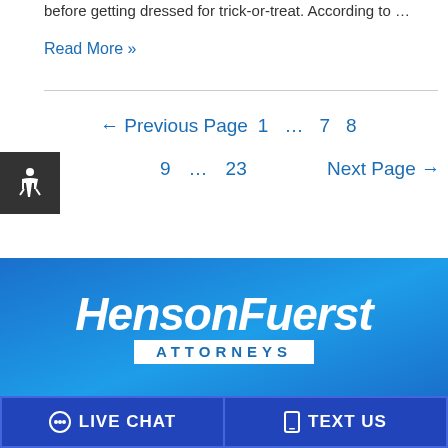before getting dressed for trick-or-treat. According to …
Read More »
← Previous Page   1   ...   7   8   9   ...   23   Next Page →
[Figure (logo): Henson Fuerst Attorneys logo in white italic text on blue background]
LIVE CHAT
TEXT US